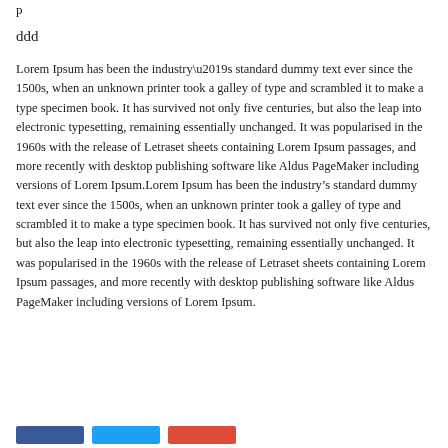p
ddd
Lorem Ipsum has been the industry’s standard dummy text ever since the 1500s, when an unknown printer took a galley of type and scrambled it to make a type specimen book. It has survived not only five centuries, but also the leap into electronic typesetting, remaining essentially unchanged. It was popularised in the 1960s with the release of Letraset sheets containing Lorem Ipsum passages, and more recently with desktop publishing software like Aldus PageMaker including versions of Lorem Ipsum.Lorem Ipsum has been the industry’s standard dummy text ever since the 1500s, when an unknown printer took a galley of type and scrambled it to make a type specimen book. It has survived not only five centuries, but also the leap into electronic typesetting, remaining essentially unchanged. It was popularised in the 1960s with the release of Letraset sheets containing Lorem Ipsum passages, and more recently with desktop publishing software like Aldus PageMaker including versions of Lorem Ipsum.
[Figure (other): Three social sharing buttons: dark blue (Facebook), light blue (Twitter), red (Google+/Pinterest)]